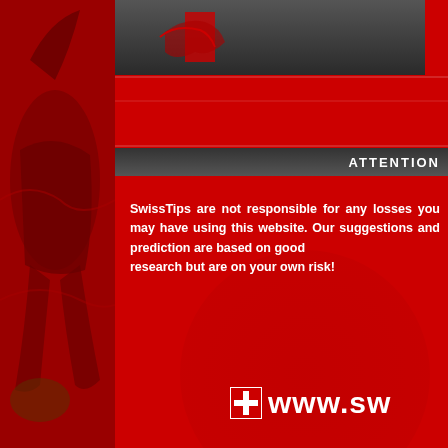[Figure (photo): Left panel showing an athlete (rugby/football player) in red against a red background, partially visible]
swisstips
ATTENTION
SwissTips are not responsible for any losses you may have using this website. Our suggestions and prediction are based on good research but are on your own risk!
+ www.sw